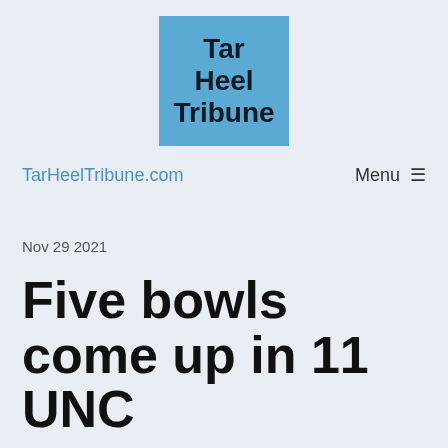[Figure (logo): Tar Heel Tribune logo — blue square with bold black text reading 'Tar Heel Tribune']
TarHeelTribune.com   Menu ☰
Nov 29 2021
Five bowls come up in 11 UNC